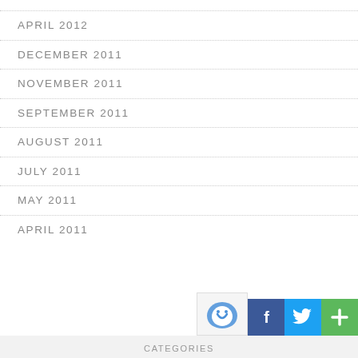APRIL 2012
DECEMBER 2011
NOVEMBER 2011
SEPTEMBER 2011
AUGUST 2011
JULY 2011
MAY 2011
APRIL 2011
CATEGORIES